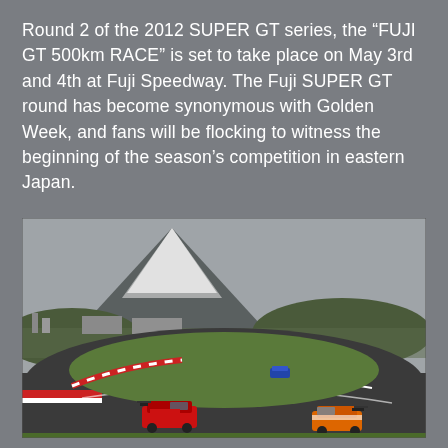Round 2 of the 2012 SUPER GT series, the “FUJI GT 500km RACE” is set to take place on May 3rd and 4th at Fuji Speedway. The Fuji SUPER GT round has become synonymous with Golden Week, and fans will be flocking to witness the beginning of the season’s competition in eastern Japan.
[Figure (photo): Racing cars on the Fuji Speedway circuit with Mount Fuji snow-capped in the background under a grey sky. Two GT racing cars visible in the foreground on the track, one dark red/black and one orange/white, with a blue car further back. Green grass infield and pit buildings visible.]